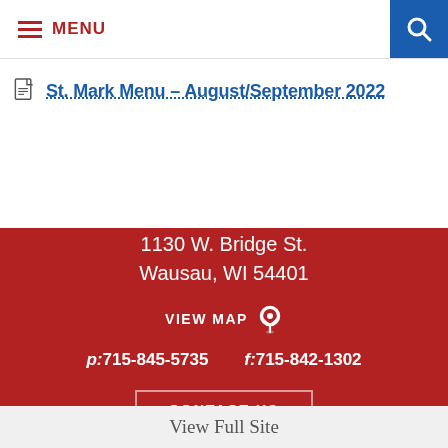MENU
St. Mark Menu – August/September 2022
District Office
1130 W. Bridge St.
Wausau, WI 54401
VIEW MAP
p: 715-845-5735   f: 715-842-1302
CONTACT US
View Full Site